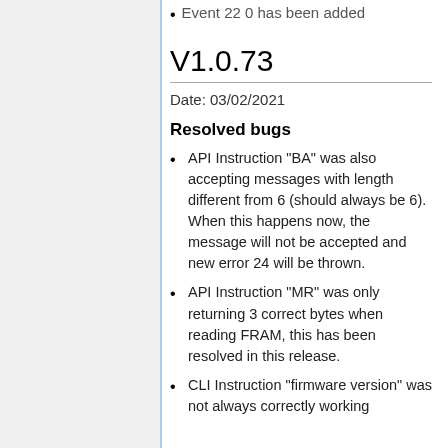Event 22 0 has been added
V1.0.73
Date: 03/02/2021
Resolved bugs
API Instruction "BA" was also accepting messages with length different from 6 (should always be 6). When this happens now, the message will not be accepted and new error 24 will be thrown.
API Instruction "MR" was only returning 3 correct bytes when reading FRAM, this has been resolved in this release.
CLI Instruction "firmware version" was not always correctly working